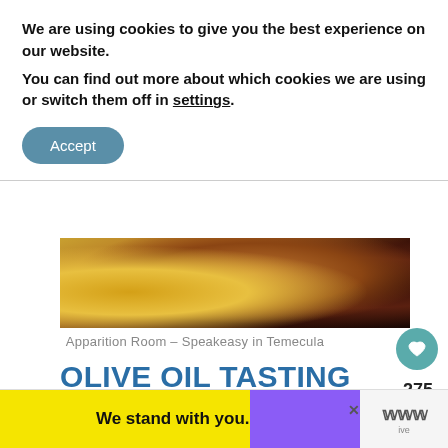We are using cookies to give you the best experience on our website.
You can find out more about which cookies we are using or switch them off in settings.
Accept
[Figure (photo): Food photo showing olive oil tasting items on a wooden surface]
Apparition Room – Speakeasy in Temecula
OLIVE OIL TASTING
Any visit to Temecula should include an olive oil tasting at Temecula Olive Oil Company. Gr book a 90-minute guided tour at the olive ranch held on the second and fourth Sundays of
WHAT'S NEXT → 10 amazing Temecula...
We stand with you.